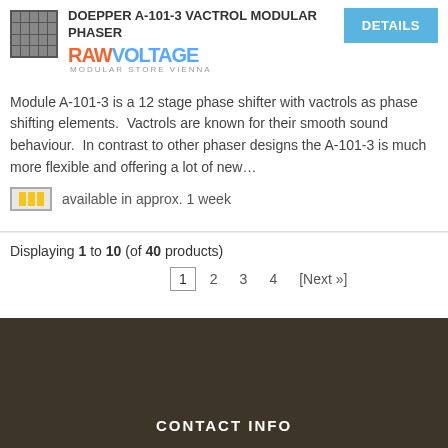DOEPPER A-101-3 VACTROL MODULAR PHASER
[Figure (logo): RAW VOLTAGE MODULAR STORE VIENNA logo]
Module A-101-3 is a 12 stage phase shifter with vactrols as phase shifting elements.  Vactrols are known for their smooth sound behaviour.  In contrast to other phaser designs the A-101-3 is much more flexible and offering a lot of new…
available in approx. 1 week
Displaying 1 to 10 (of 40 products)
1  2  3  4  [Next »]
CONTACT INFO